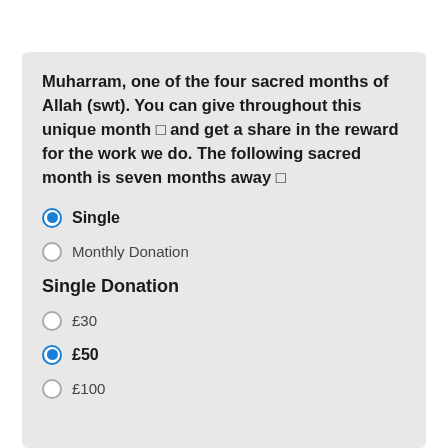Muharram, one of the four sacred months of Allah (swt). You can give throughout this unique month 🕌 and get a share in the reward for the work we do. The following sacred month is seven months away 🕌
Single (selected)
Monthly Donation
Single Donation
£30
£50 (selected)
£100